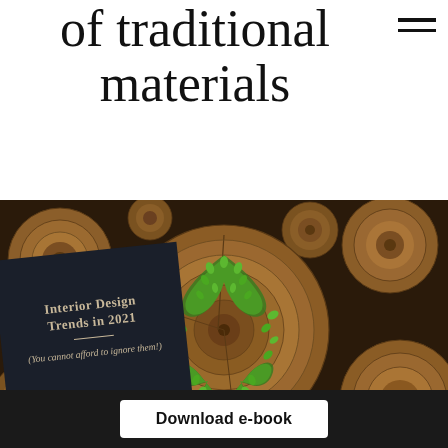of traditional materials
[Figure (photo): Photo of cross-sections of cut wooden logs arranged together, with a recycling/sustainability symbol made of green leaves on the central log. A dark book titled 'Interior Design Trends in 2021 (You cannot afford to ignore them!)' is overlaid in the lower left corner.]
Download e-book